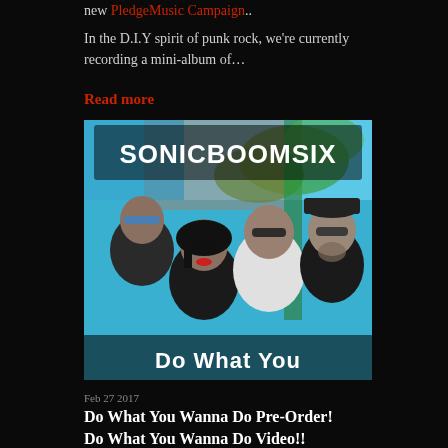new PledgeMusic Campaign..
In the D.I.Y spirit of punk rock, we're currently recording a mini-album of…
Read more
[Figure (photo): Sonic Boom Six band photo showing four members wearing sunglasses in front of a tropical background with the band logo 'SONICBOOMSIX' and text 'Do What You' visible at the bottom]
Feb 27 2017
Do What You Wanna Do Pre-Order! Do What You Wanna Do Video!! American Ska Show!!!